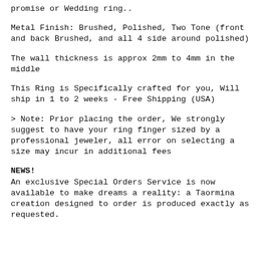promise or Wedding ring..
Metal Finish: Brushed, Polished, Two Tone (front and back Brushed, and all 4 side around polished)
The wall thickness is approx 2mm to 4mm in the middle
This Ring is Specifically crafted for you, Will ship in 1 to 2 weeks - Free Shipping (USA)
> Note: Prior placing the order, We strongly suggest to have your ring finger sized by a professional jeweler, all error on selecting a size may incur in additional fees
NEWS!
An exclusive Special Orders Service is now available to make dreams a reality: a Taormina creation designed to order is produced exactly as requested.